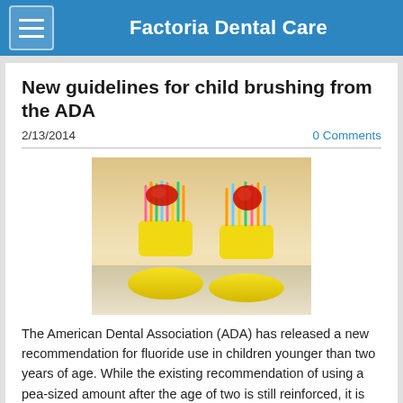Factoria Dental Care
New guidelines for child brushing from the ADA
2/13/2014
0 Comments
[Figure (photo): Two colorful children's toothbrushes with yellow handles and multicolored bristles, each with a dab of red toothpaste on top, photographed close-up on a light surface.]
The American Dental Association (ADA) has released a new recommendation for fluoride use in children younger than two years of age. While the existing recommendation of using a pea-sized amount after the age of two is still reinforced, it is now recommended to start with "only the tiniest amount of fluoride toothpaste" as soon as their teeth start erupting. The goal is that we